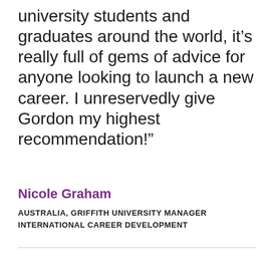university students and graduates around the world, it’s really full of gems of advice for anyone looking to launch a new career. I unreservedly give Gordon my highest recommendation!”
Nicole Graham
AUSTRALIA, GRIFFITH UNIVERSITY MANAGER INTERNATIONAL CAREER DEVELOPMENT